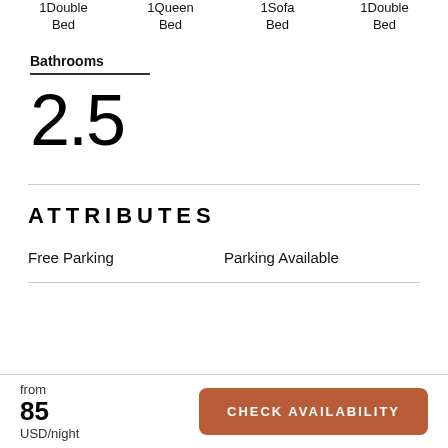1Double Bed   1Queen Bed   1Sofa Bed   1Double Bed
Bathrooms
2.5
ATTRIBUTES
Free Parking   Parking Available
from 85 USD/night
CHECK AVAILABILITY